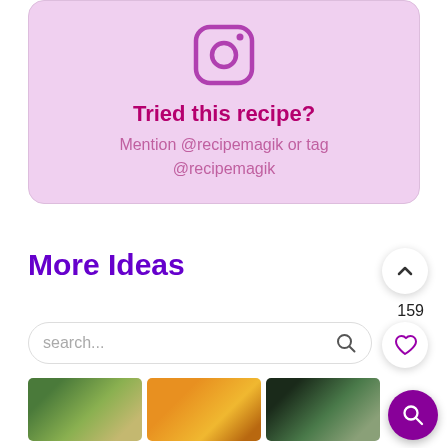[Figure (infographic): Instagram call-to-action card with Instagram logo icon on lavender/pink background saying 'Tried this recipe? Mention @recipemagik or tag @recipemagik']
Tried this recipe?
Mention @recipemagik or tag @recipemagik
More Ideas
159
[Figure (screenshot): Search bar with search icon, arrow up button, heart button, purple search FAB, and a 3-column grid of food recipe thumbnail images]